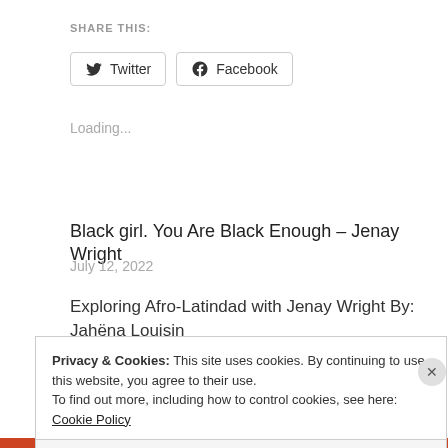SHARE THIS:
[Figure (other): Twitter and Facebook share buttons]
Loading...
Black girl. You Are Black Enough – Jenay Wright
July 12, 2022
Exploring Afro-Latindad with Jenay Wright By: Jahëna Louisin
Privacy & Cookies: This site uses cookies. By continuing to use this website, you agree to their use.
To find out more, including how to control cookies, see here: Cookie Policy
Close and accept